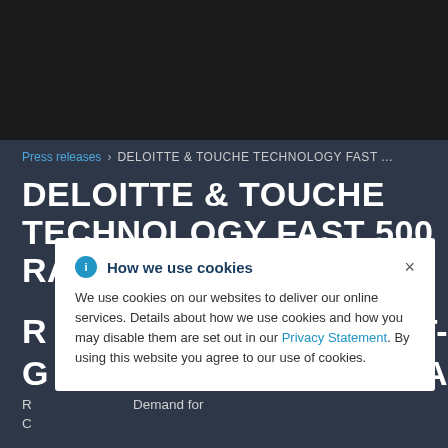Press releases > DELOITTE & TOUCHE TECHNOLOGY FAST ...
DELOITTE & TOUCHE TECHNOLOGY FAST 500 RANKS R... STEST- G... ERICA
[Figure (screenshot): Cookie consent modal overlay with 'How we use cookies' heading, info icon, close button (×), and body text: 'We use cookies on our websites to deliver our online services. Details about how we use cookies and how you may disable them are set out in our Privacy Statement. By using this website you agree to our use of cookies.']
R... Demand for C...